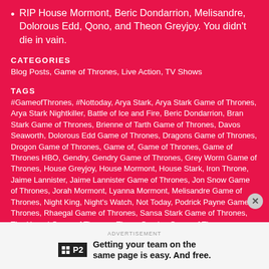RIP House Mormont, Beric Dondarrion, Melisandre, Dolorous Edd, Qono, and Theon Greyjoy. You didn't die in vain.
CATEGORIES
Blog Posts, Game of Thrones, Live Action, TV Shows
TAGS
#GameofThrones, #Nottoday, Arya Stark, Arya Stark Game of Thrones, Arya Stark Nightkiller, Battle of Ice and Fire, Beric Dondarrion, Bran Stark Game of Thrones, Brienne of Tarth Game of Thrones, Davos Seaworth, Dolorous Edd Game of Thrones, Dragons Game of Thrones, Drogon Game of Thrones, Game of, Game of Thrones, Game of Thrones HBO, Gendry, Gendry Game of Thrones, Grey Worm Game of Thrones, House Greyjoy, House Mormont, House Stark, Iron Throne, Jaime Lannister, Jaime Lannister Game of Thrones, Jon Snow Game of Thrones, Jorah Mormont, Lyanna Mormont, Melisandre Game of Thrones, Night King, Night's Watch, Not Today, Podrick Payne Game of Thrones, Rhaegal Game of Thrones, Sansa Stark Game of Thrones, The Hound Game of Thrones, Theon Greyjoy Game of Thrones, Thrones, Tormund Giantsbane Game of Thrones, Tyrion Lannister, Tyrion Lannsiter Game of Thrones., White Walkers Game of Thrones, Wights Game of Thrones, Winterfell
Getting your team on the same page is easy. And free.